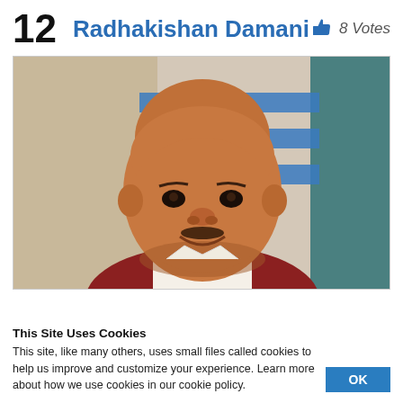12  Radhakishan Damani  👍 8 Votes
[Figure (photo): Portrait photo of Radhakishan Damani, a middle-aged bald man with a mustache, smiling, wearing a white shirt, against a blue and white background]
This Site Uses Cookies
This site, like many others, uses small files called cookies to help us improve and customize your experience. Learn more about how we use cookies in our cookie policy.